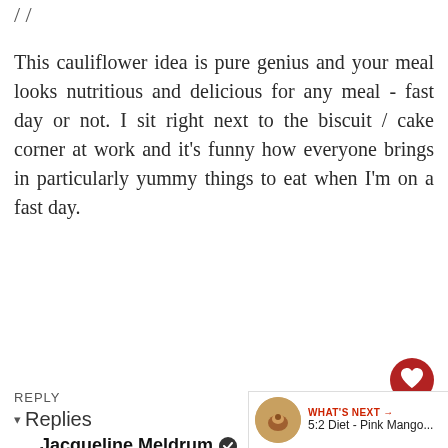/ /
This cauliflower idea is pure genius and your meal looks nutritious and delicious for any meal - fast day or not. I sit right next to the biscuit / cake corner at work and it's funny how everyone brings in particularly yummy things to eat when I'm on a fast day.
REPLY
▾ Replies
Jacqueline Meldrum ✔
Sunday, 03 March, 2013
It's sods law is... Choclette, although I find it